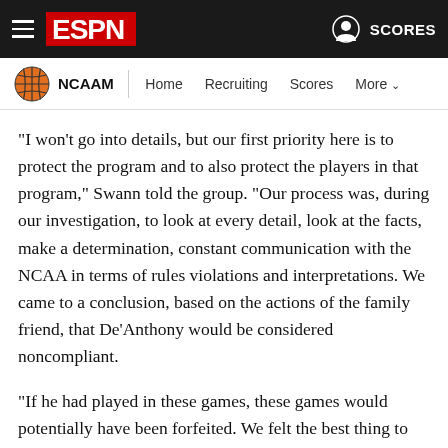ESPN — NCAAM | Home | Recruiting | Scores | More
"I won't go into details, but our first priority here is to protect the program and to also protect the players in that program," Swann told the group. "Our process was, during our investigation, to look at every detail, look at the facts, make a determination, constant communication with the NCAA in terms of rules violations and interpretations. We came to a conclusion, based on the actions of the family friend, that De'Anthony would be considered noncompliant.
"If he had played in these games, these games would potentially have been forfeited. We felt the best thing to do, while still advocating and trying to find a way if the facts would support it, that he could play, while certainly making sure the team was compliant and could move forward. At the